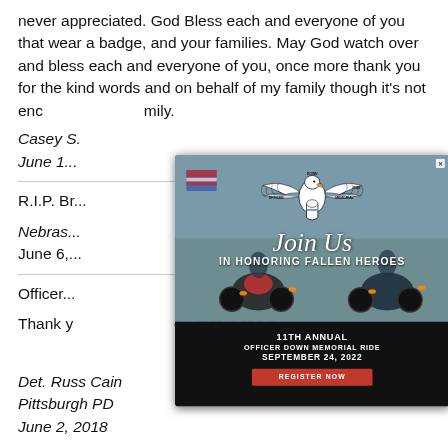never appreciated. God Bless each and everyone of you that wear a badge, and your families. May God watch over and bless each and everyone of you, once more thank you for the kind words and on behalf of my family though it's not enc... ...amily.
Casey S.
June 1...
R.I.P. Br...
Nebras...
June 6,...
Officer...
Thank y... ...ou rest in the a...
[Figure (infographic): Officer Down Memorial Ride popup modal. Shows motorcycle riders with American flag in background photo. Contains eagle logo with text 'OFFICER DOWN MEMORIAL RIDE'. Text overlay: 'Join Us IN HONORING FALLEN HEROES', '11TH ANNUAL OFFICER DOWN MEMORIAL RIDE SEPTEMBER 24, 2022', and a red 'REGISTER NOW' button. Modal has dark bottom band and close X button.]
Det. Russ Cain
Pittsburgh PD
June 2, 2018